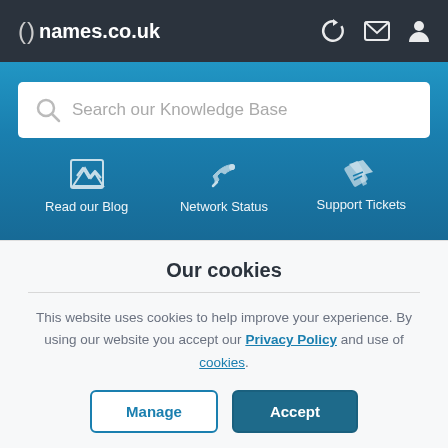( ) names.co.uk
[Figure (screenshot): Search bar with placeholder text 'Search our Knowledge Base']
Read our Blog
Network Status
Support Tickets
Our cookies
This website uses cookies to help improve your experience. By using our website you accept our Privacy Policy and use of cookies.
Manage | Accept